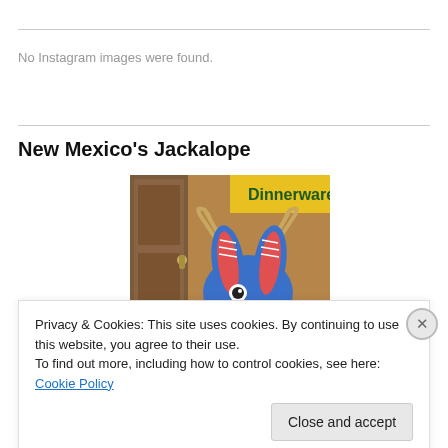No Instagram images were found.
New Mexico’s Jackalope
[Figure (photo): A blue stuffed jackalope toy with rabbit ears and antlers mounted on a wall, with a yellow sign reading Dinnerware in the background and a wooden door to the left.]
Privacy & Cookies: This site uses cookies. By continuing to use this website, you agree to their use.
To find out more, including how to control cookies, see here: Cookie Policy
Close and accept